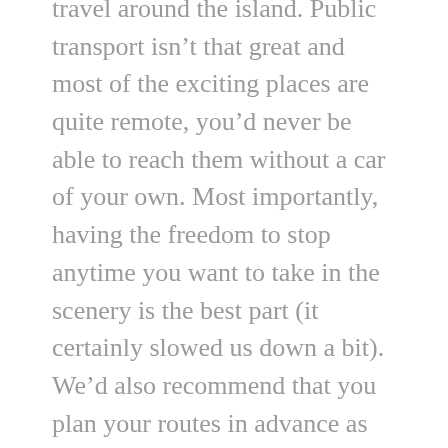travel around the island. Public transport isn't that great and most of the exciting places are quite remote, you'd never be able to reach them without a car of your own. Most importantly, having the freedom to stop anytime you want to take in the scenery is the best part (it certainly slowed us down a bit). We'd also recommend that you plan your routes in advance as the petrol stations are quite scarce in the rural areas. We made sure we had a full tank before any long distances. In some places the nearest pump is 3 to 4 hours away.